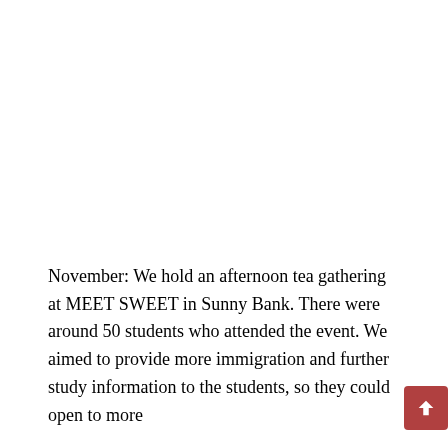November: We hold an afternoon tea gathering at MEET SWEET in Sunny Bank. There were around 50 students who attended the event. We aimed to provide more immigration and further study information to the students, so they could open to more opportunities for the students,